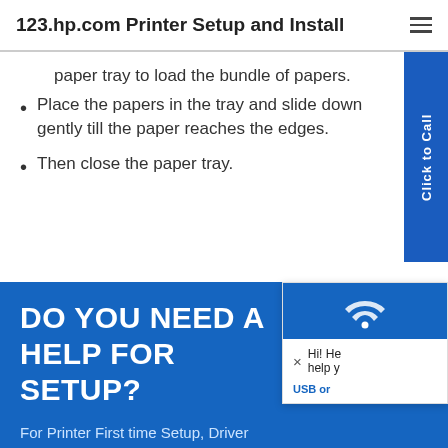123.hp.com Printer Setup and Install
paper tray to load the bundle of papers.
Place the papers in the tray and slide down gently till the paper reaches the edges.
Then close the paper tray.
DO YOU NEED A HELP FOR SETUP?
For Printer First time Setup, Driver Download, Wireless Setup and your printer issues
(800) 87
Live Help is Online.